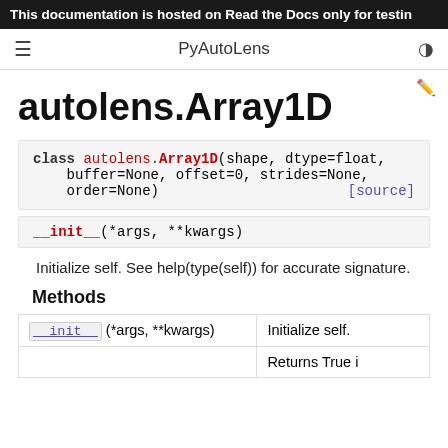This documentation is hosted on Read the Docs only for testin
PyAutoLens
autolens.Array1D
class autolens.Array1D(shape, dtype=float, buffer=None, offset=0, strides=None, order=None) [source]
__init__(*args, **kwargs)
Initialize self. See help(type(self)) for accurate signature.
Methods
|  |  |
| --- | --- |
| __init__(*args, **kwargs) | Initialize self. |
|  | Returns True i |